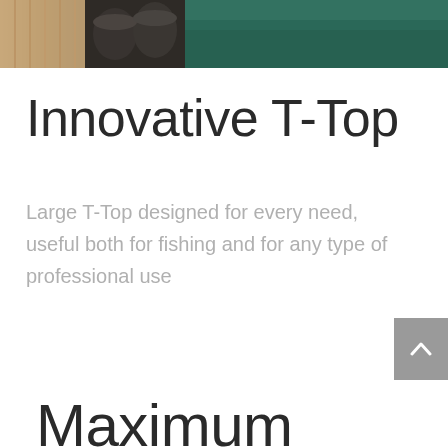[Figure (photo): Top portion of a photo showing a boat deck with wood flooring, dark containers/buckets, and green water in the background]
Innovative T-Top
Large T-Top designed for every need, useful both for fishing and for any type of professional use
Maximum